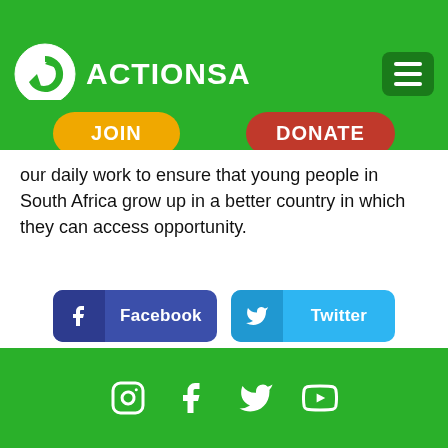[Figure (logo): ActionSA logo with green circle containing white leaf/arrow design and ACTIONSA text in white, plus hamburger menu button]
[Figure (infographic): JOIN button in orange/yellow and DONATE button in red on green background]
our daily work to ensure that young people in South Africa grow up in a better country in which they can access opportunity.
[Figure (infographic): Social share buttons: Facebook (dark blue), Twitter (light blue), WhatsApp (green), Email (red)]
Social media icons: Instagram, Facebook, Twitter, YouTube